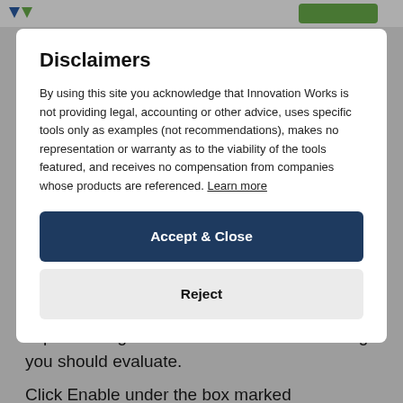Disclaimers
By using this site you acknowledge that Innovation Works is not providing legal, accounting or other advice, uses specific tools only as examples (not recommendations), makes no representation or warranty as to the viability of the tools featured, and receives no compensation from companies whose products are referenced. Learn more
Accept & Close
Reject
implementing device-based 2FA is something you should evaluate.
Click Enable under the box marked Authentication App (TOTP). You'll be prompted to re-enter your password. Because adding 2FA